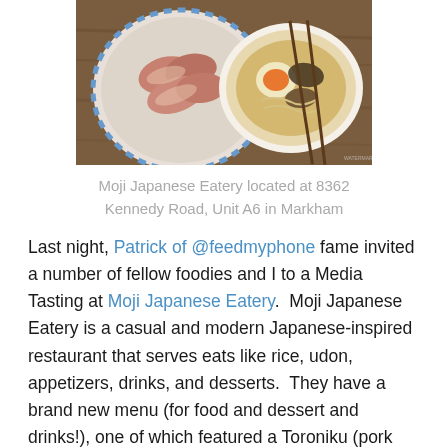[Figure (photo): Photo of Japanese food dishes — a plate of sliced pork and a bowl of ramen with egg and toppings, on a wooden table surface]
Moji Japanese Eatery located at 8362 Kennedy Road, Unit A6 in Markham
Last night, Patrick of @feedmyphone fame invited a number of fellow foodies and I to a Media Tasting at Moji Japanese Eatery.  Moji Japanese Eatery is a casual and modern Japanese-inspired restaurant that serves eats like rice, udon, appetizers, drinks, and desserts.  They have a brand new menu (for food and dessert and drinks!), one of which featured a Toroniku (pork cheek meat) Ramen.
I was excited to be part of the FeedMyPhoneInstaMeet get-together to try out these brand new menu items.  I always love Patrick's events too because they are well